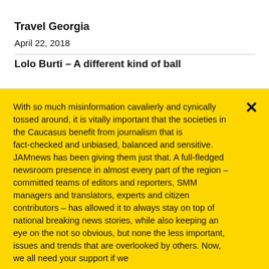Travel Georgia
April 22, 2018
Lolo Burti – A different kind of ball
With so much misinformation cavalierly and cynically tossed around, it is vitally important that the societies in the Caucasus benefit from journalism that is fact-checked and unbiased, balanced and sensitive. JAMnews has been giving them just that. A full-fledged newsroom presence in almost every part of the region – committed teams of editors and reporters, SMM managers and translators, experts and citizen contributors – has allowed it to always stay on top of national breaking news stories, while also keeping an eye on the not so obvious, but none the less important, issues and trends that are overlooked by others. Now, we all need your support if we
Support JAMnews →